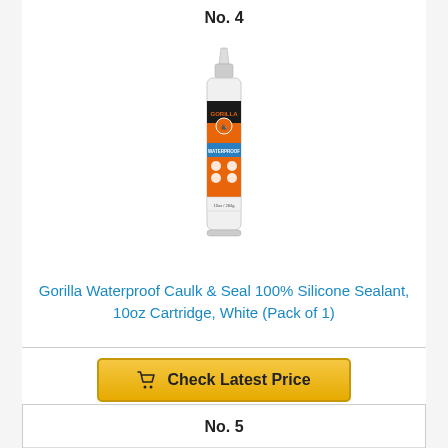No. 4
[Figure (photo): Gorilla Waterproof Caulk & Seal 100% Silicone Sealant, white cartridge tube with orange and black Gorilla branding label]
Gorilla Waterproof Caulk & Seal 100% Silicone Sealant, 10oz Cartridge, White (Pack of 1)
Check Latest Price
No. 5
[Figure (photo): Partial view of product No. 5, appears to be a white tube/cartridge]